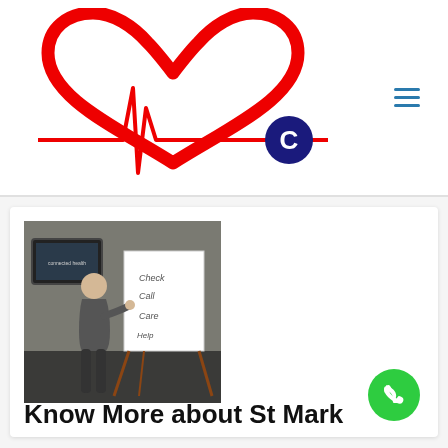[Figure (logo): Heart with ECG line logo and letter C in dark blue circle, red and white design]
[Figure (photo): Man writing on a whiteboard/easel in a room with a TV screen, words Check, Call, Care visible on board]
Know More about St Mark